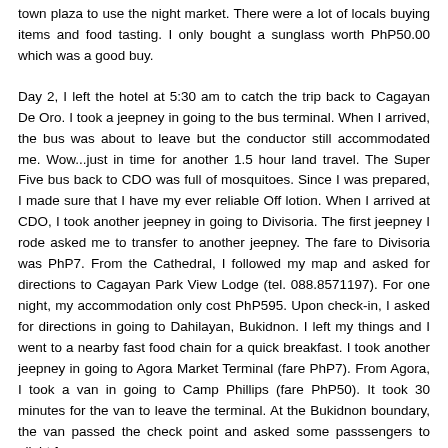town plaza to use the night market. There were a lot of locals buying items and food tasting. I only bought a sunglass worth PhP50.00 which was a good buy.
Day 2, I left the hotel at 5:30 am to catch the trip back to Cagayan De Oro. I took a jeepney in going to the bus terminal. When I arrived, the bus was about to leave but the conductor still accommodated me. Wow...just in time for another 1.5 hour land travel. The Super Five bus back to CDO was full of mosquitoes. Since I was prepared, I made sure that I have my ever reliable Off lotion. When I arrived at CDO, I took another jeepney in going to Divisoria. The first jeepney I rode asked me to transfer to another jeepney. The fare to Divisoria was PhP7. From the Cathedral, I followed my map and asked for directions to Cagayan Park View Lodge (tel. 088.8571197). For one night, my accommodation only cost PhP595. Upon check-in, I asked for directions in going to Dahilayan, Bukidnon. I left my things and I went to a nearby fast food chain for a quick breakfast. I took another jeepney in going to Agora Market Terminal (fare PhP7). From Agora, I took a van in going to Camp Phillips (fare PhP50). It took 30 minutes for the van to leave the terminal. At the Bukidnon boundary, the van passed the check point and asked some passsengers to alight for